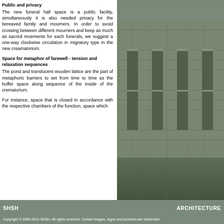Public and privacy
The new funeral hall space is a public facility, simultaneously it is also needed privacy for the bereaved family and mourners. In order to avoid crossing between different mourners and keep as much as sacred moements for each funerals, we suggest a one-way clockwise circulation in migratory type in the new creamatorium.
Space for metaphor of farewell - tension and relaxation sequences
The pond and translucent wooden lattice are the part of metaphoric barriers to set from time to time as the buffer space along sequence of the inside of the crematorium.
For instance, space that is closed in accordance with the respective chambers of the function, space which
[Figure (photo): Exterior photograph of a building with stone/concrete cladding, featuring tall vertical window openings and a pedestrian walkway, shown in muted grey-green tones.]
SHSH    ARCHITECTURE
Copyright © 2009-2014 SHSH. All rights reserved. Certain images, logos and products are trademark